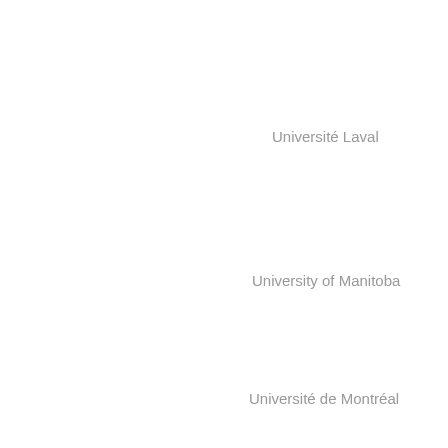Université Laval
University of Manitoba
Université de Montréal